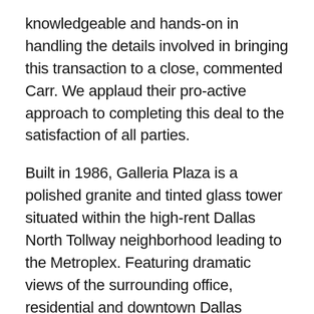knowledgeable and hands-on in handling the details involved in bringing this transaction to a close, commented Carr. We applaud their pro-active approach to completing this deal to the satisfaction of all parties.
Built in 1986, Galleria Plaza is a polished granite and tinted glass tower situated within the high-rent Dallas North Tollway neighborhood leading to the Metroplex. Featuring dramatic views of the surrounding office, residential and downtown Dallas skyline, the property is now 74 percent leased to such major tenants as employee benefit agency BenefitMall, premier IT staffing firm Matrix